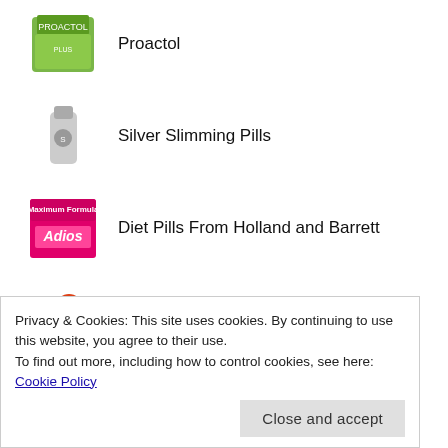Proactol
Silver Slimming Pills
Diet Pills From Holland and Barrett
Health Benefits Of Prickly Pear
Obesimed Weight Loss Pill Review
Treating recurring thrush naturally
Privacy & Cookies: This site uses cookies. By continuing to use this website, you agree to their use.
To find out more, including how to control cookies, see here: Cookie Policy
Close and accept